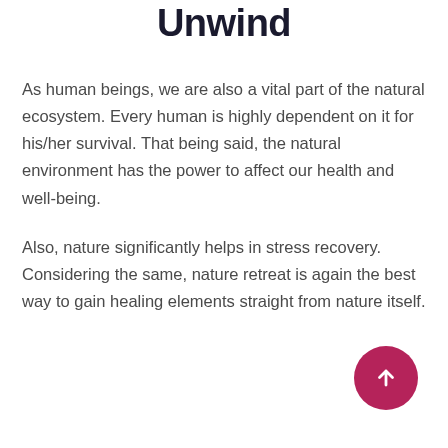Nature Helps to Unwind
As human beings, we are also a vital part of the natural ecosystem. Every human is highly dependent on it for his/her survival. That being said, the natural environment has the power to affect our health and well-being.
Also, nature significantly helps in stress recovery. Considering the same, nature retreat is again the best way to gain healing elements straight from nature itself.
[Figure (other): Dark pink circular scroll-to-top button with upward arrow icon, positioned bottom right]